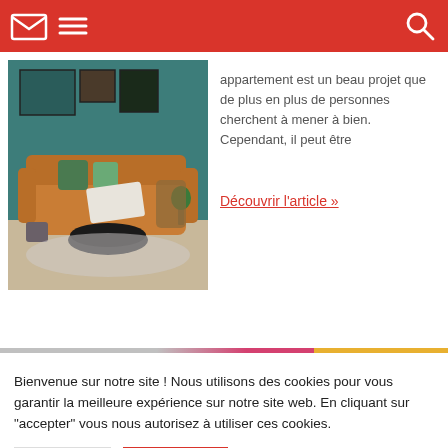[Navigation bar with mail icon, menu icon, search icon]
[Figure (photo): Interior photo of a living room with an orange/tan leather sofa, green throw pillows, a round black coffee table, framed wall art, and teal/green wall paint.]
appartement est un beau projet que de plus en plus de personnes cherchent à mener à bien. Cependant, il peut être
Découvrir l'article »
Bienvenue sur notre site ! Nous utilisons des cookies pour vous garantir la meilleure expérience sur notre site web. En cliquant sur "accepter" vous nous autorisez à utiliser ces cookies.
Réglages
Accepter